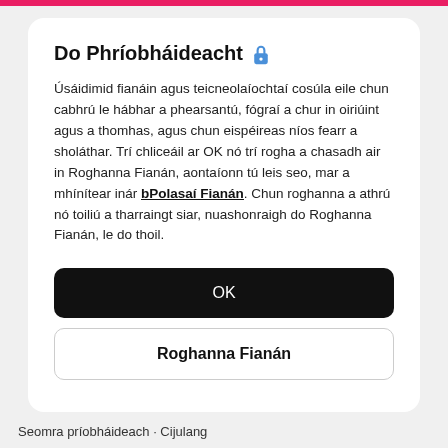Do Phríobháideacht 🔒
Úsáidimid fianáin agus teicneolaíochtaí cosúla eile chun cabhrú le hábhar a phearsantú, fógraí a chur in oiriúint agus a thomhas, agus chun eispéireas níos fearr a sholáthar. Trí chliceáil ar OK nó trí rogha a chasadh air in Roghanna Fianán, aontaíonn tú leis seo, mar a mhínítear inár bPolasaí Fianán. Chun roghanna a athrú nó toiliú a tharraingt siar, nuashonraigh do Roghanna Fianán, le do thoil.
OK
Roghanna Fianán
Seomra príobháideach · Cijulang